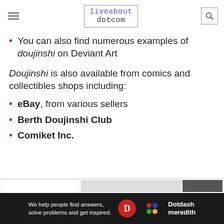liveabout dotcom
You can also find numerous examples of doujinshi on Deviant Art
Doujinshi is also available from comics and collectibles shops including:
eBay, from various sellers
Berth Doujinshi Club
Comiket Inc.
[Figure (screenshot): Dotdash Meredith advertisement banner at bottom of page]